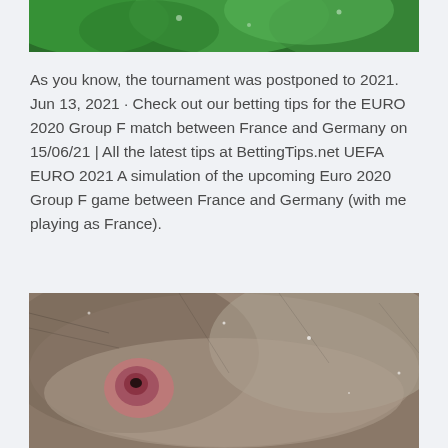[Figure (photo): Close-up photograph of green leaves with water droplets, cropped at top of page]
As you know, the tournament was postponed to 2021. Jun 13, 2021 · Check out our betting tips for the EURO 2020 Group F match between France and Germany on 15/06/21 | All the latest tips at BettingTips.net UEFA EURO 2021 A simulation of the upcoming Euro 2020 Group F game between France and Germany (with me playing as France).
[Figure (photo): Close-up photograph of a monkey's face/ear area with grey-brown fur and a pink/red ear, with some snow or dust particles visible]